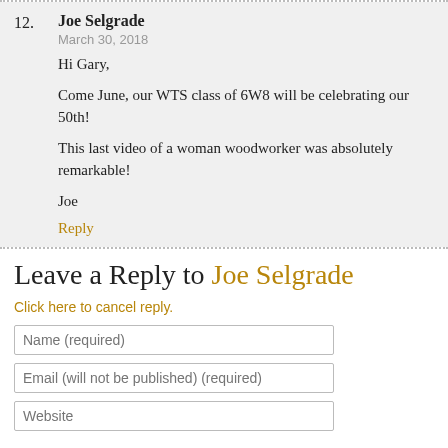12. Joe Selgrade
March 30, 2018
Hi Gary,

Come June, our WTS class of 6W8 will be celebrating our 50th!

This last video of a woman woodworker was absolutely remarkable!

Joe

Reply
Leave a Reply to Joe Selgrade
Click here to cancel reply.
Name (required)
Email (will not be published) (required)
Website